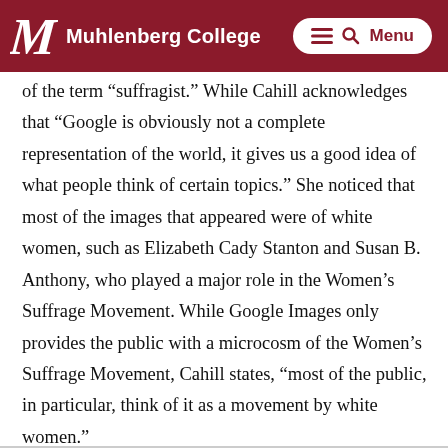Muhlenberg College | Menu
of the term “suffragist.” While Cahill acknowledges that “Google is obviously not a complete representation of the world, it gives us a good idea of what people think of certain topics.” She noticed that most of the images that appeared were of white women, such as Elizabeth Cady Stanton and Susan B. Anthony, who played a major role in the Women’s Suffrage Movement. While Google Images only provides the public with a microcosm of the Women’s Suffrage Movement, Cahill states, “most of the public, in particular, think of it as a movement by white women.”